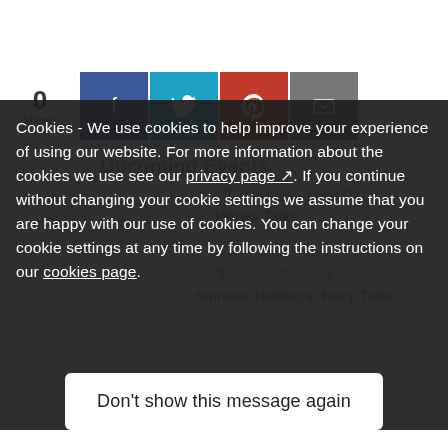0 Shares
[Figure (screenshot): Social share buttons: Facebook (blue), Twitter (teal), Pinterest (red), Email (gray)]
Cookies - We use cookies to help improve your experience of using our website. For more information about the cookies we use see our privacy page. If you continue without changing your cookie settings we assume that you are happy with our use of cookies. You can change your cookie settings at any time by following the instructions on our cookies page.
Don't show this message again